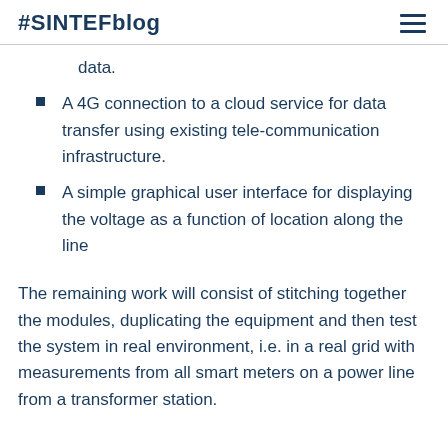#SINTEFblog
data.
A 4G connection to a cloud service for data transfer using existing tele-communication infrastructure.
A simple graphical user interface for displaying the voltage as a function of location along the line
The remaining work will consist of stitching together the modules, duplicating the equipment and then test the system in real environment, i.e. in a real grid with measurements from all smart meters on a power line from a transformer station.